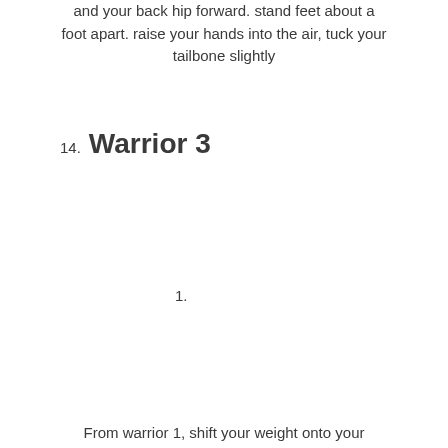and your back hip forward. stand feet about a foot apart. raise your hands into the air, tuck your tailbone slightly
14. Warrior 3
1.
From warrior 1, shift your weight onto your